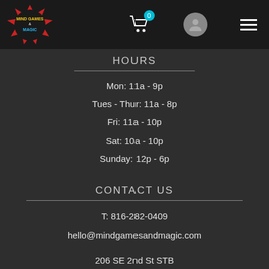[Figure (logo): Mind Games & Magic store logo - colorful circular badge with red starburst]
HOURS
Mon: 11a - 9p
Tues - Thur: 11a - 8p
Fri: 11a - 10p
Sat: 10a - 10p
Sunday: 12p - 6p
CONTACT US
T: 816-282-0409
hello@mindgamesandmagic.com
206 SE 2nd St STB
Lees Summit, MO 64063
SUPPORT